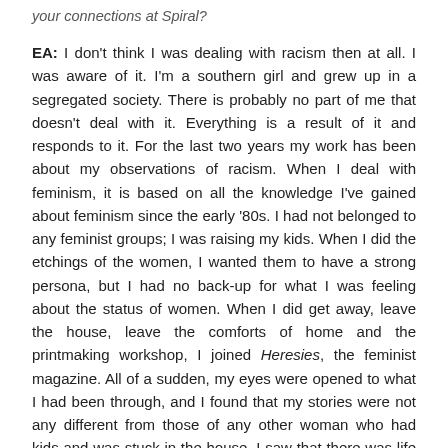your connections at Spiral?
EA: I don't think I was dealing with racism then at all. I was aware of it. I'm a southern girl and grew up in a segregated society. There is probably no part of me that doesn't deal with it. Everything is a result of it and responds to it. For the last two years my work has been about my observations of racism. When I deal with feminism, it is based on all the knowledge I've gained about feminism since the early '80s. I had not belonged to any feminist groups; I was raising my kids. When I did the etchings of the women, I wanted them to have a strong persona, but I had no back-up for what I was feeling about the status of women. When I did get away, leave the house, leave the comforts of home and the printmaking workshop, I joined Heresies, the feminist magazine. All of a sudden, my eyes were opened to what I had been through, and I found that my stories were not any different from those of any other woman who had kids and was stuck in the house. I saw that there was life and then there is this other life. But I think as I get older the work will change. You go on to another story, and I don't know what that story will be.